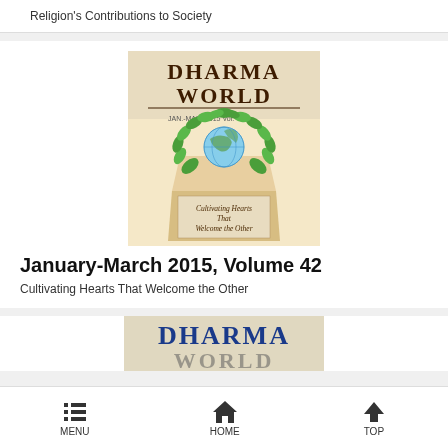Religion's Contributions to Society
[Figure (illustration): Dharma World magazine cover for January-March 2015, Volume 42, showing a green leaf heart wreath with a globe, and text 'Cultivating Hearts That Welcome the Other']
January-March 2015, Volume 42
Cultivating Hearts That Welcome the Other
[Figure (illustration): Partial view of another Dharma World magazine cover]
MENU  HOME  TOP